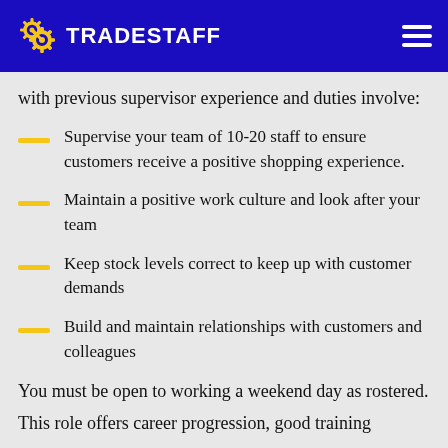TRADESTAFF
with previous supervisor experience and duties involve:
Supervise your team of 10-20 staff to ensure customers receive a positive shopping experience.
Maintain a positive work culture and look after your team
Keep stock levels correct to keep up with customer demands
Build and maintain relationships with customers and colleagues
You must be open to working a weekend day as rostered.
This role offers career progression, good training